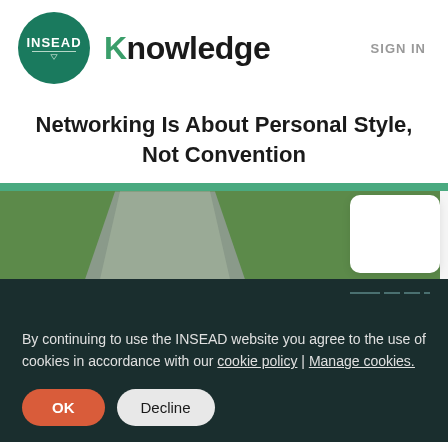[Figure (logo): INSEAD Knowledge logo — circular green badge with INSEAD text next to bold 'Knowledge' wordmark]
SIGN IN
Networking Is About Personal Style, Not Convention
[Figure (photo): Partial image of a forked road through green grass, cropped at bottom, with a white card element to the right]
By continuing to use the INSEAD website you agree to the use of cookies in accordance with our cookie policy | Manage cookies.
OK   Decline